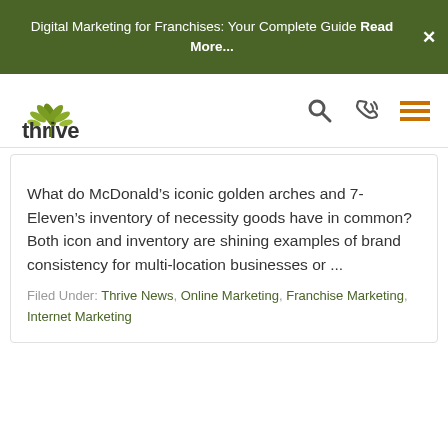Digital Marketing for Franchises: Your Complete Guide Read More...
[Figure (logo): Thrive logo with green leaf icon and 'thrive' wordmark, plus search, phone, and menu icons]
What do McDonald’s iconic golden arches and 7-Eleven’s inventory of necessity goods have in common? Both icon and inventory are shining examples of brand consistency for multi-location businesses or ...
Filed Under: Thrive News, Online Marketing, Franchise Marketing, Internet Marketing